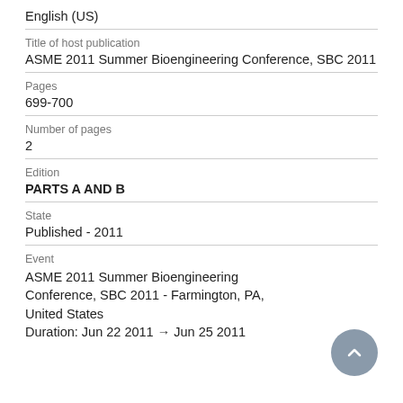English (US)
Title of host publication
ASME 2011 Summer Bioengineering Conference, SBC 2011
Pages
699-700
Number of pages
2
Edition
PARTS A AND B
State
Published - 2011
Event
ASME 2011 Summer Bioengineering Conference, SBC 2011 - Farmington, PA, United States
Duration: Jun 22 2011 → Jun 25 2011